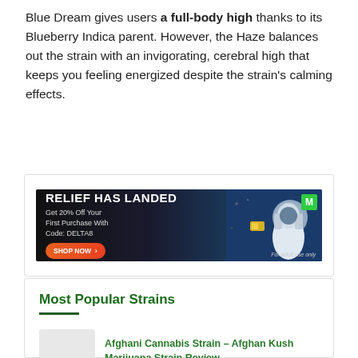Blue Dream gives users a full-body high thanks to its Blueberry Indica parent. However, the Haze balances out the strain with an invigorating, cerebral high that keeps you feeling energized despite the strain's calming effects.
[Figure (photo): Advertisement banner: 'RELIEF HAS LANDED' with astronaut imagery and offer text 'Get 20% Off Your First Purchase With Code: DELTA8', SHOP NOW button, For adult use only disclaimer, green M logo]
Most Popular Strains
Afghani Cannabis Strain – Afghan Kush Marijuana Strain Review
Alien OG Cannabis Strain – Alien OG Kush